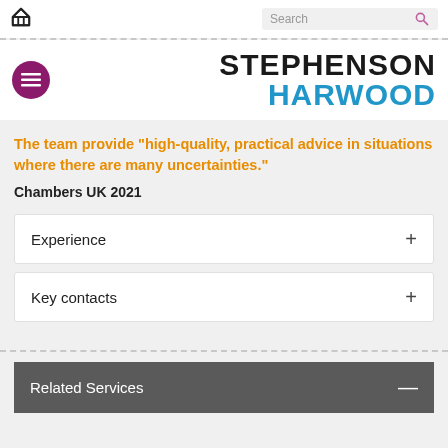Stephenson Harwood law firm website header with home icon and search bar
[Figure (logo): Stephenson Harwood logo — STEPHENSON in black bold, HARWOOD in blue bold, with purple hamburger menu circle on left]
The team provide "high-quality, practical advice in situations where there are many uncertainties."
Chambers UK 2021
Experience +
Key contacts +
Related Services —